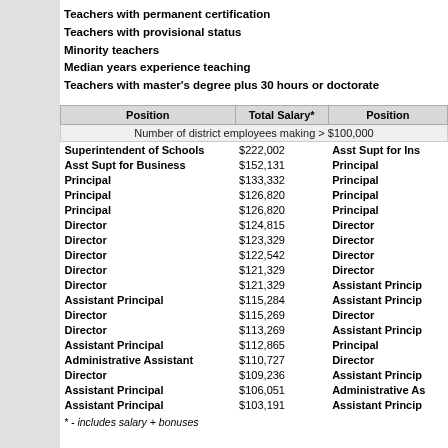Teachers with permanent certification
Teachers with provisional status
Minority teachers
Median years experience teaching
Teachers with master's degree plus 30 hours or doctorate
| Position | Total Salary* | Position |
| --- | --- | --- |
| Number of district employees making > $100,000 |  |  |
| Superintendent of Schools | $222,002 | Asst Supt for Ins... |
| Asst Supt for Business | $152,131 | Principal |
| Principal | $133,332 | Principal |
| Principal | $126,820 | Principal |
| Principal | $126,820 | Principal |
| Director | $124,815 | Director |
| Director | $123,329 | Director |
| Director | $122,542 | Director |
| Director | $121,329 | Director |
| Director | $121,329 | Assistant Princip... |
| Assistant Principal | $115,284 | Assistant Princip... |
| Director | $115,269 | Director |
| Director | $113,269 | Assistant Princip... |
| Assistant Principal | $112,865 | Principal |
| Administrative Assistant | $110,727 | Director |
| Director | $109,236 | Assistant Princip... |
| Assistant Principal | $106,051 | Administrative As... |
| Assistant Principal | $103,191 | Assistant Princip... |
* - includes salary + bonuses